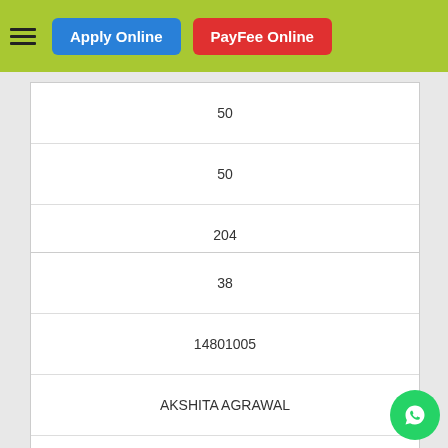Apply Online | PayFee Online
| 50 |
| 50 |
| 204 |
| 38 |
| 14801005 |
| AKSHITA AGRAWAL |
| Kota |
| CRESCENDO-G1G2-M2 |